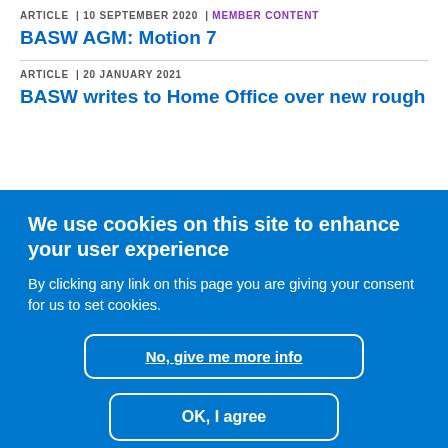ARTICLE | 10 SEPTEMBER 2020 | MEMBER CONTENT
BASW AGM: Motion 7
ARTICLE | 20 JANUARY 2021
BASW writes to Home Office over new rough
We use cookies on this site to enhance your user experience
By clicking any link on this page you are giving your consent for us to set cookies.
No, give me more info
OK, I agree